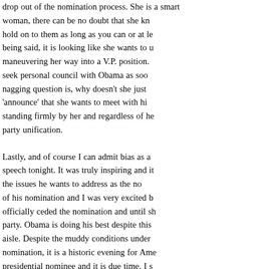drop out of the nomination process. She is a smart woman, there can be no doubt that she knows how to hold on to them as long as you can or at least... All being said, it is looking like she wants to use this as maneuvering her way into a V.P. position. She may seek personal council with Obama as soon... The nagging question is, why doesn't she just quietly 'announce' that she wants to meet with him? He is standing firmly by her and regardless of her stance, party unification.
Lastly, and of course I can admit bias as a man, his speech tonight. It was truly inspiring and it outlined the issues he wants to address as the nominee. Part of his nomination and I was very excited but she hasn't officially ceded the nomination and until she does the party. Obama is doing his best despite this across the aisle. Despite the muddy conditions under his nomination, it is a historic evening for America, first presidential nominee and it is due time. I see this as it is an America that young people underst...